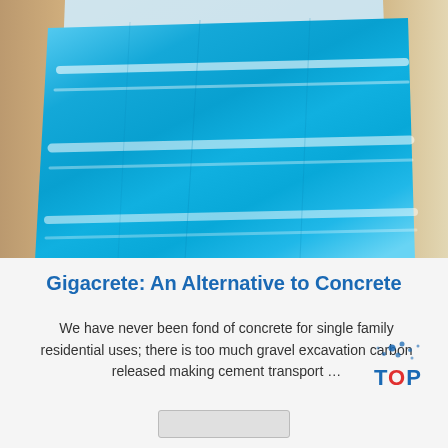[Figure (photo): A large blue aluminum or metal sheet lying diagonally in a cardboard/paper box, viewed from above. The blue surface has reflective white highlight lines running across it.]
Gigacrete: An Alternative to Concrete
We have never been fond of concrete for single family residential uses; there is too much gravel excavation carbon released making cement transport …
[Figure (logo): Carbon TOP logo with scattered dots above the word TOP]